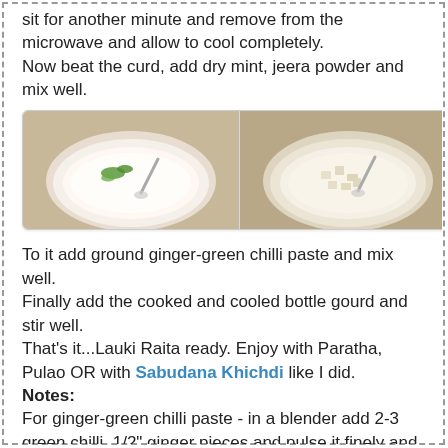sit for another minute and remove from the microwave and allow to cool completely.
Now beat the curd, add dry mint, jeera powder and mix well.
[Figure (photo): Three bowls shown side by side: first bowl with white yogurt and green garnish, second bowl with diced white vegetable pieces, third bowl with mixed yogurt and vegetables. Each bowl has a spoon inside.]
To it add ground ginger-green chilli paste and mix well.
Finally add the cooked and cooled bottle gourd and stir well.
That's it...Lauki Raita ready. Enjoy with Paratha, Pulao OR with Sabudana Khichdi like I did.
Notes:
For ginger-green chilli paste - in a blender add 2-3 green chilli, 1/2" ginger pieces and pulse it finely and use this for raita.
You can also use chaat masala for extra punch, if it not prepared during fasting days.
You cal also included some sliced onions, chopped tomato and cucumber for even more